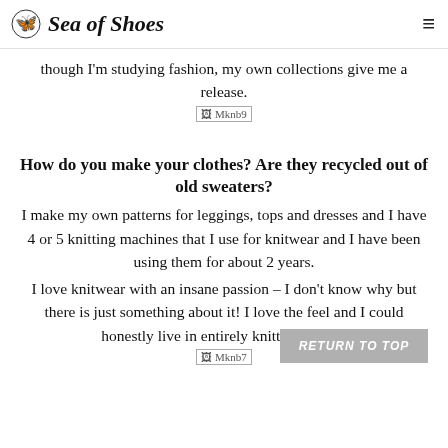Sea of Shoes
though I'm studying fashion, my own collections give me a release.
[Figure (other): Broken image placeholder labeled Mknb9]
How do you make your clothes? Are they recycled out of old sweaters?
I make my own patterns for leggings, tops and dresses and I have 4 or 5 knitting machines that I use for knitwear and I have been using them for about 2 years.
I love knitwear with an insane passion – I don't know why but there is just something about it! I love the feel and I could honestly live in entirely knitted clothes.
[Figure (other): Broken image placeholder labeled Mknb7]
RETURN TO TOP